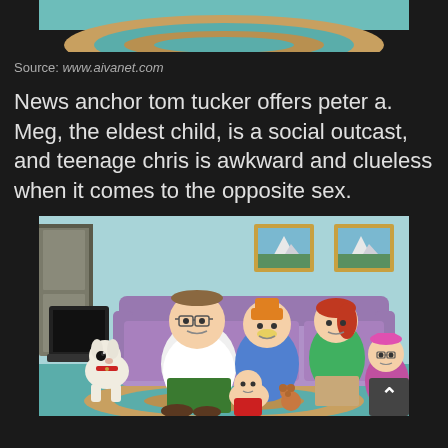[Figure (screenshot): Top portion of a Family Guy cartoon scene showing a rug/floor area with teal and tan oval rug, cropped at the top of the page]
Source: www.aivanet.com
News anchor tom tucker offers peter a. Meg, the eldest child, is a social outcast, and teenage chris is awkward and clueless when it comes to the opposite sex.
[Figure (illustration): Family Guy animated cartoon image showing the Griffin family sitting on a purple couch in their living room: Brian the dog, Peter, Chris, Lois, Meg, and Stewie on the floor with a teddy bear. Two landscape paintings on the wall behind them, a TV on the left side.]